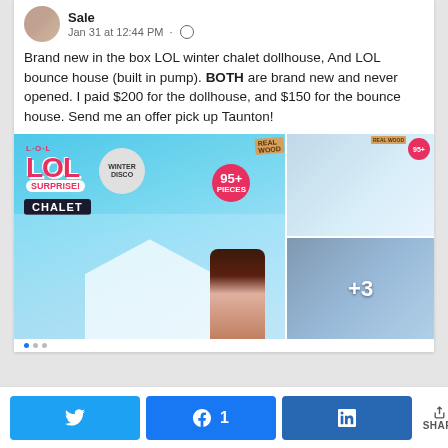Sale
Jan 31 at 12:44 PM
Brand new in the box LOL winter chalet dollhouse, And LOL bounce house (built in pump). BOTH are brand new and never opened. I paid $200 for the dollhouse, and $150 for the bounce house. Send me an offer pick up Taunton!
[Figure (photo): Product photos of LOL Surprise Winter Disco Chalet dollhouse boxes, showing the toy packaging with LOL logo, WINTER DISCO CHALET text, 95+ pieces badge, a girl holding the dollhouse, and additional product views. Last image shows +3 overlay indicating more photos.]
[Figure (infographic): Social share bar with Twitter, Facebook (1 share), LinkedIn buttons and total share count of 1 SHARES]